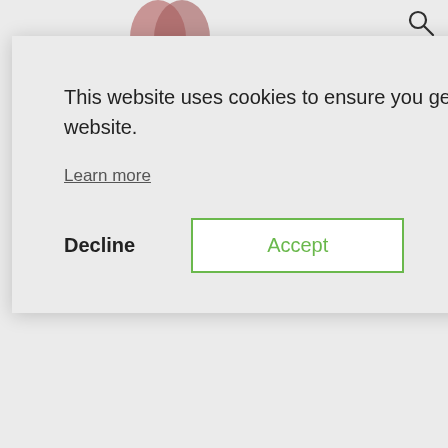[Figure (screenshot): Cookie consent modal dialog overlaying a food/recipe website. The modal has a light gray background with text 'This website uses cookies to ensure you get the best experience on our website.' with a 'Learn more' underlined link, a bold 'Decline' button and a green-outlined 'Accept' button. A close X is visible top right of modal. Behind the modal, partial text content of the webpage is visible on the right edge and a search icon top right.]
We were really happy with the results. As turkey is typically a leaner meat than beef, I was afraid they might turn out dry, but there are things you can do to help the turkey retain its moisture when its cooked